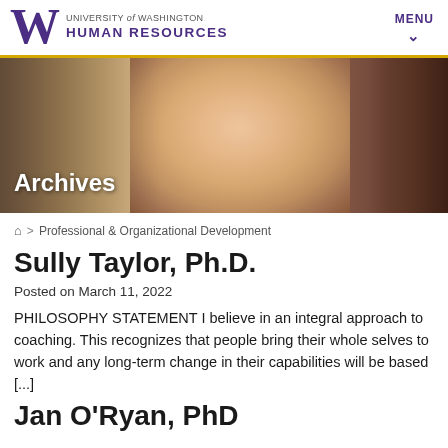UNIVERSITY of WASHINGTON HUMAN RESOURCES | MENU
[Figure (photo): Banner image with 'Archives' text overlay and a portrait photo of an older woman with short gray hair and glasses]
🏠 > Professional & Organizational Development
Sully Taylor, Ph.D.
Posted on March 11, 2022
PHILOSOPHY STATEMENT I believe in an integral approach to coaching. This recognizes that people bring their whole selves to work and any long-term change in their capabilities will be based [...]
Jan O'Ryan, PhD